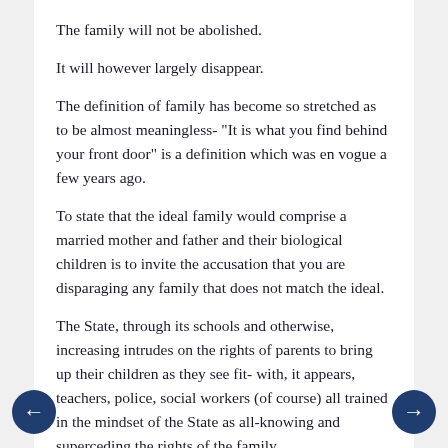The family will not be abolished.
It will however largely disappear.
The definition of family has become so stretched as to be almost meaningless- "It is what you find behind your front door" is a definition which was en vogue a few years ago.
To state that the ideal family would comprise a married mother and father and their biological children is to invite the accusation that you are disparaging any family that does not match the ideal.
The State, through its schools and otherwise, increasing intrudes on the rights of parents to bring up their children as they see fit- with, it appears, teachers, police, social workers (of course) all trained in the mindset of the State as all-knowing and superceding the rights of the family.
A lefty friend of my wife likes to use the expression "It takes a village to raise a child". Behind that folksy faux-